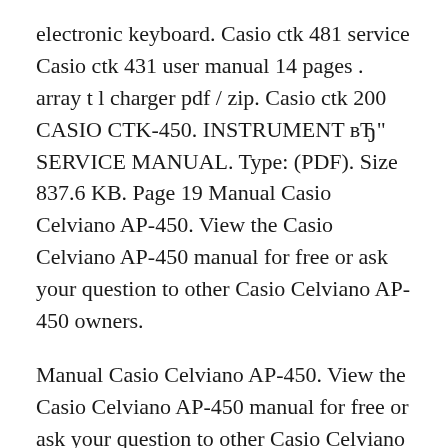electronic keyboard. Casio ctk 481 service Casio ctk 431 user manual 14 pages . array t l charger pdf / zip. Casio ctk 200 CASIO CTK-450. INSTRUMENT вЂ" SERVICE MANUAL. Type: (PDF). Size 837.6 KB. Page 19 Manual Casio Celviano AP-450. View the Casio Celviano AP-450 manual for free or ask your question to other Casio Celviano AP-450 owners.
Manual Casio Celviano AP-450. View the Casio Celviano AP-450 manual for free or ask your question to other Casio Celviano AP-450 owners. Casio CTK 496 - Electronic Keyboard With 61 Full-Size Keys Manuals: Casio PDA BN-20 Operation & userвЂ™s manual (91 pages, 21.05 Mb) Casio PDA BN-20 Service manual & parts list (61 pages) Casio PDA BN-20 Operation &